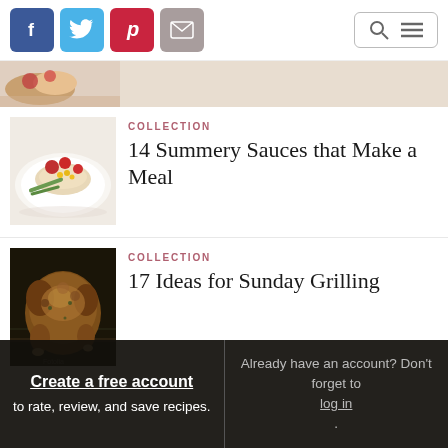Social share bar with Facebook, Twitter, Pinterest, Email icons; search and menu icons on right
[Figure (photo): Partial view of a food dish at top of page]
COLLECTION
14 Summery Sauces that Make a Meal
COLLECTION
17 Ideas for Sunday Grilling
Create a free account to rate, review, and save recipes. Already have an account? Don't forget to log in.